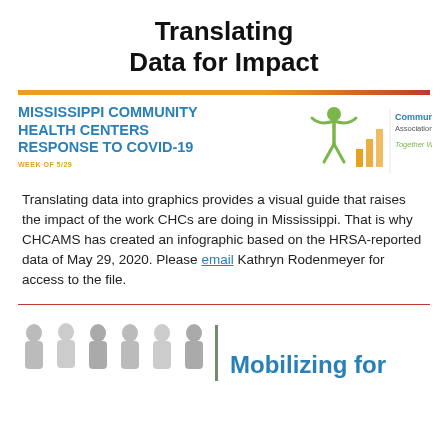Translating Data for Impact
[Figure (infographic): MISSISSIPPI COMMUNITY HEALTH CENTERS RESPONSE TO COVID-19 header with Community Health Center Association of Mississippi logo (figure with arms raised and orange/gold bar chart bars, with tagline 'Together We Care'). Week of 5/29 label in orange.]
Translating data into graphics provides a visual guide that raises the impact of the work CHCs are doing in Mississippi. That is why CHCAMS has created an infographic based on the HRSA-reported data of May 29, 2020. Please email Kathryn Rodenmeyer for access to the file.
[Figure (infographic): Bottom section showing gray silhouette people figures on the left, a green vertical divider line, and the start of a 'Mobilizing for' heading in bold blue.]